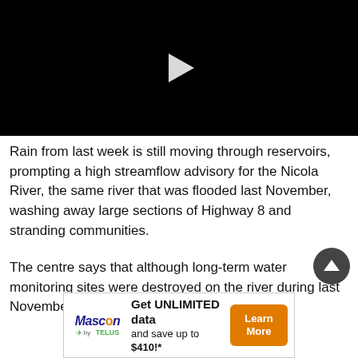[Figure (screenshot): Black video player with white play button triangle in center]
Rain from last week is still moving through reservoirs, prompting a high streamflow advisory for the Nicola River, the same river that was flooded last November, washing away large sections of Highway 8 and stranding communities.
The centre says that although long-term water monitoring sites were destroyed on the river during last November's
[Figure (infographic): Mascon by TELUS advertisement banner: Get UNLIMITED data and save up to $410!* with Learn More orange button]